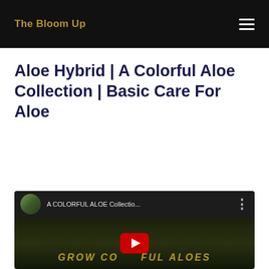The Bloom Up
Aloe Hybrid | A Colorful Aloe Collection | Basic Care For Aloe
[Figure (screenshot): YouTube video thumbnail showing 'A COLORFUL ALOE Collectio...' with a person avatar, three-dot menu, and a dark green background with overlaid text 'GROW CO...FUL ALOES' and a red play button in the center.]